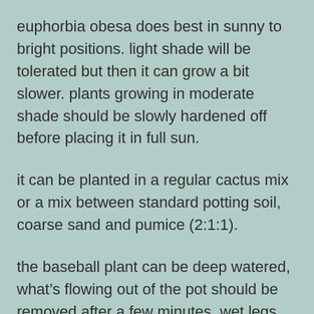euphorbia obesa does best in sunny to bright positions. light shade will be tolerated but then it can grow a bit slower. plants growing in moderate shade should be slowly hardened off before placing it in full sun.
it can be planted in a regular cactus mix or a mix between standard potting soil, coarse sand and pumice (2:1:1).
the baseball plant can be deep watered, what’s flowing out of the pot should be removed after a few minutes. wet legs can cause root rott.